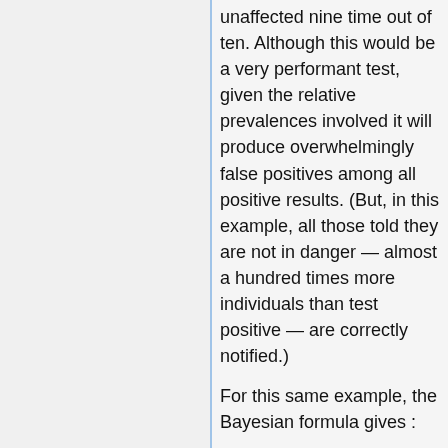unaffected nine time out of ten. Although this would be a very performant test, given the relative prevalences involved it will produce overwhelmingly false positives among all positive results. (But, in this example, all those told they are not in danger — almost a hundred times more individuals than test positive — are correctly notified.)
For this same example, the Bayesian formula gives :